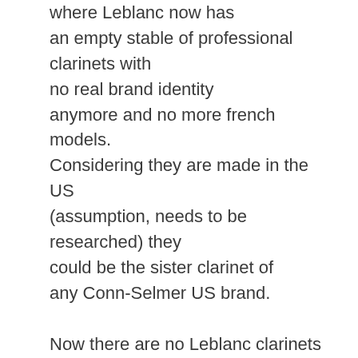where Leblanc now has an empty stable of professional clarinets with no real brand identity anymore and no more french models. Considering they are made in the US (assumption, needs to be researched) they could be the sister clarinet of any Conn-Selmer US brand.

Now there are no Leblanc clarinets that I would recommend except going back to the french made Opus/Concertos, LLs, Dynamics, and L series.  And I was just getting around to try the Backun models